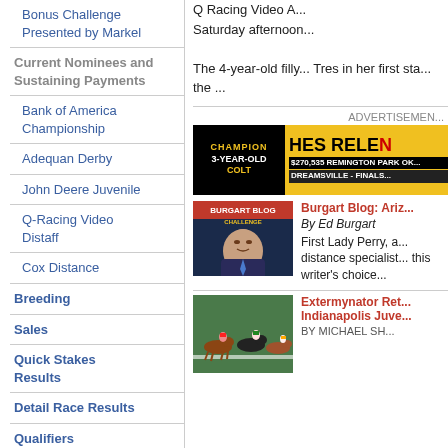Bonus Challenge Presented by Markel
Current Nominees and Sustaining Payments
Bank of America Championship
Adequan Derby
John Deere Juvenile
Q-Racing Video Distaff
Cox Distance
Breeding
Sales
Quick Stakes Results
Detail Race Results
Qualifiers
Q Racing Video A... Saturday afternoon...
The 4-year-old filly... Tres in her first sta... the ...
ADVERTISEMENT
[Figure (photo): Advertisement banner: Champion 3-Year-Old Colt, HES RELE[NTLESS], $270,535 Remington Park OK, Dreamsville - Finals]
[Figure (photo): Burgart Blog logo image with photo of Ed Burgart]
Burgart Blog: Ariz...
By Ed Burgart
First Lady Perry, a... distance specialist... this writer's choice...
[Figure (photo): Horse racing photo showing horses and jockeys racing on track]
Extermynator Ret... Indianapolis Juve...
BY MICHAEL SH...